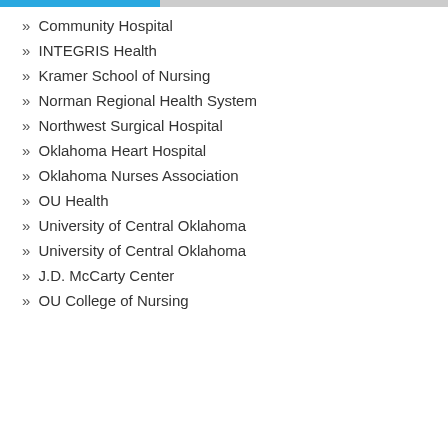» Community Hospital
» INTEGRIS Health
» Kramer School of Nursing
» Norman Regional Health System
» Northwest Surgical Hospital
» Oklahoma Heart Hospital
» Oklahoma Nurses Association
» OU Health
» University of Central Oklahoma
» University of Central Oklahoma
» J.D. McCarty Center
» OU College of Nursing